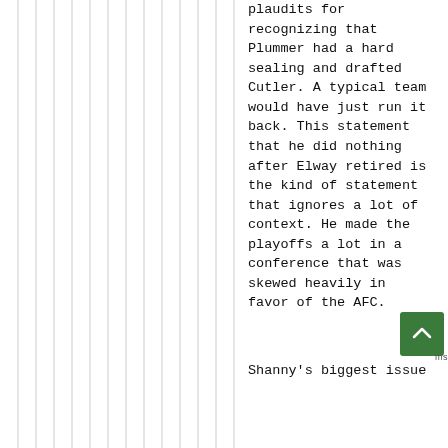plaudits for recognizing that Plummer had a hard sealing and drafted Cutler. A typical team would have just run it back. This statement that he did nothing after Elway retired is the kind of statement that ignores a lot of context. He made the playoffs a lot in a conference that was skewed heavily in favor of the AFC.
Shanny's biggest issue